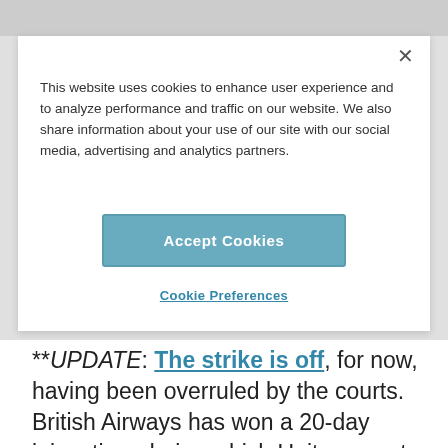This website uses cookies to enhance user experience and to analyze performance and traffic on our website. We also share information about your use of our site with our social media, advertising and analytics partners.
Accept Cookies
Cookie Preferences
**UPDATE: The strike is off, for now, having been overruled by the courts. British Airways has won a 20-day injunction, during which Unite cannot strike.